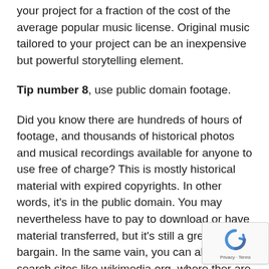your project for a fraction of the cost of the average popular music license. Original music tailored to your project can be an inexpensive but powerful storytelling element.
Tip number 8, use public domain footage.
Did you know there are hundreds of hours of footage, and thousands of historical photos and musical recordings available for anyone to use free of charge? This is mostly historical material with expired copyrights. In other words, it's in the public domain. You may nevertheless have to pay to download or have material transferred, but it's still a great bargain. In the same vain, you can also search sites like wikimedia.org, where there are stills and videos with various creative commons licenses. These licences allow you to